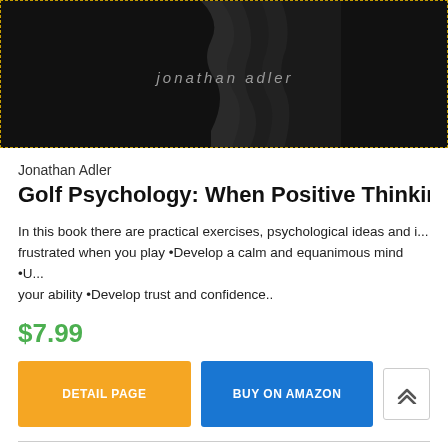[Figure (photo): Book cover image on dark/black background with silhouette and text 'jonathan adler' in gray italic font]
Jonathan Adler
Golf Psychology: When Positive Thinking Doesn't Work
In this book there are practical exercises, psychological ideas and i... frustrated when you play •Develop a calm and equanimous mind •U... your ability •Develop trust and confidence..
$7.99
DETAIL PAGE
BUY ON AMAZON